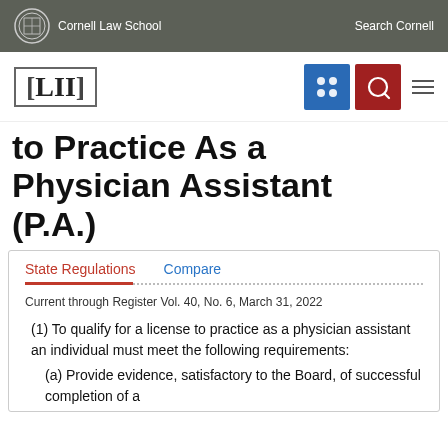Cornell Law School    Search Cornell
[Figure (logo): LII Legal Information Institute logo with Cornell Law School branding and navigation icons]
to Practice As a Physician Assistant (P.A.)
State Regulations    Compare
Current through Register Vol. 40, No. 6, March 31, 2022
(1) To qualify for a license to practice as a physician assistant an individual must meet the following requirements:
(a) Provide evidence, satisfactory to the Board, of successful completion of a